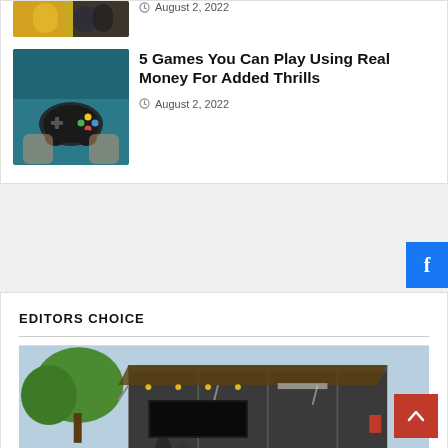[Figure (photo): Partial photo at top showing people in yellow shirts]
August 2, 2022
[Figure (photo): Child's hands holding a game controller]
5 Games You Can Play Using Real Money For Added Thrills
August 2, 2022
[Figure (other): Facebook share button (blue with white f)]
EDITORS CHOICE
[Figure (photo): Exterior photo of dark metal shipping container converted to a venue with lights and trees in background]
[Figure (other): Back to top button (red with upward chevron arrow)]